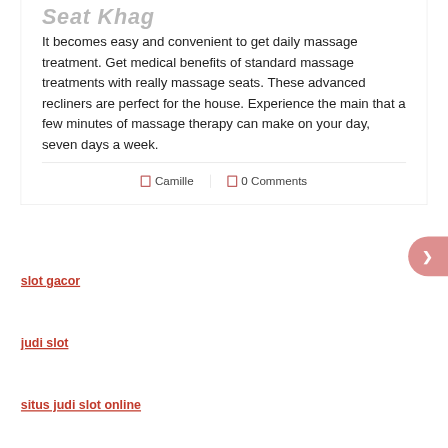Seat Khas
It becomes easy and convenient to get daily massage treatment. Get medical benefits of standard massage treatments with really massage seats. These advanced recliners are perfect for the house. Experience the main that a few minutes of massage therapy can make on your day, seven days a week.
Camille   |   0 Comments
slot gacor
judi slot
situs judi slot online